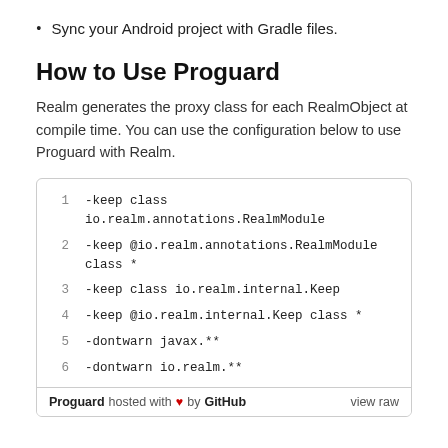Sync your Android project with Gradle files.
How to Use Proguard
Realm generates the proxy class for each RealmObject at compile time. You can use the configuration below to use Proguard with Realm.
[Figure (screenshot): Code block showing Proguard configuration lines for Realm, with a footer reading 'Proguard hosted with heart by GitHub  view raw']